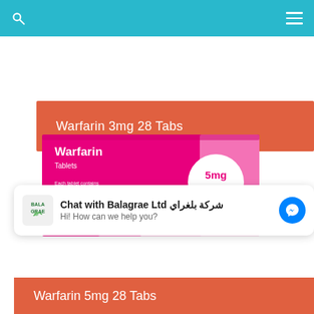Navigation bar with search and menu icons
Warfarin 3mg 28 Tabs
[Figure (photo): Warfarin Tablets 5mg box by Crescent pharmaceutical. Pink/magenta colored packaging with white circular badge showing '5mg'. Text on box reads: Warfarin, Tablets, Each tablet contains warfarin sodium 5 mg, Also contains lactose and sucrose, 28 Tablets, Crescent.]
Chat with Balagrae Ltd شركة بلغراي
Hi! How can we help you?
Warfarin 5mg 28 Tabs